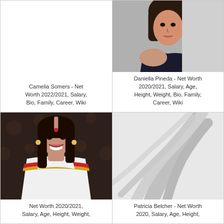[Figure (other): Empty white space (no photo shown)]
Camelia Somers - Net Worth 2022/2021, Salary, Bio, Family, Career, Wiki
[Figure (photo): Photo of Daniella Pineda, a young woman with dark hair wearing an off-shoulder black top, looking over her shoulder]
Daniella Pineda - Net Worth 2020/2021, Salary, Age, Height, Weight, Bio, Family, Career, Wiki
[Figure (photo): Photo of a woman in a white saree with red and gold border, smiling, wearing earrings and a bindi]
Net Worth 2020/2021, Salary, Age, Height, Weight,
[Figure (other): Decorative background image with gray/white abstract wave/feather design]
Patricia Belcher - Net Worth 2020, Salary, Age, Height,